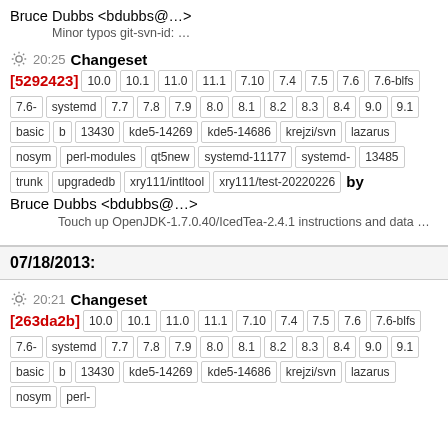Bruce Dubbs <bdubbs@...>
Minor typos git-svn-id: …
20:25 Changeset
[5292423] 10.0 10.1 11.0 11.1 7.10 7.4 7.5 7.6 7.6-blfs 7.6-systemd 7.7 7.8 7.9 8.0 8.1 8.2 8.3 8.4 9.0 9.1 basic b 13430 kde5-14269 kde5-14686 krejzi/svn lazarus nosym perl-modules qt5new systemd-11177 systemd-13485 trunk upgradedb xry111/intltool xry111/test-20220226 by Bruce Dubbs <bdubbs@...>
Touch up OpenJDK-1.7.0.40/IcedTea-2.4.1 instructions and data …
07/18/2013:
20:21 Changeset
[263da2b] 10.0 10.1 11.0 11.1 7.10 7.4 7.5 7.6 7.6-blfs 7.6-systemd 7.7 7.8 7.9 8.0 8.1 8.2 8.3 8.4 9.0 9.1 basic b 13430 kde5-14269 kde5-14686 krejzi/svn lazarus nosym perl-